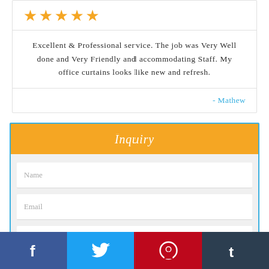[Figure (other): Five gold/orange star rating icons]
Excellent & Professional service. The job was Very Well done and Very Friendly and accommodating Staff. My office curtains looks like new and refresh.
- Mathew
Inquiry
Name
Email
[Figure (infographic): Social media bar with Facebook, Twitter, Pinterest, and Tumblr icons]